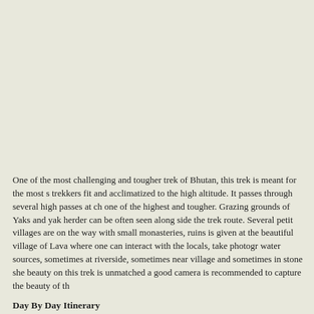One of the most challenging and tougher trek of Bhutan, this trek is meant for the most s trekkers fit and acclimatized to the high altitude. It passes through several high passes at ch one of the highest and tougher. Grazing grounds of Yaks and yak herder can be often seen along side the trek route. Several petit villages are on the way with small monasteries, ruins is given at the beautiful village of Lava where one can interact with the locals, take photogr water sources, sometimes at riverside, sometimes near village and sometimes in stone she beauty on this trek is unmatched a good camera is recommended to capture the beauty of th
Day By Day Itinerary
Day 01: Arrive Delhi
On arrival, met by representative and transferred to hotel. Overnight hotel at Delhi..
Day 02: Delhi –Paro